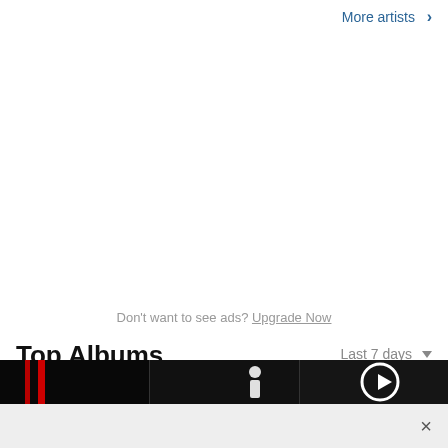More artists >
Don't want to see ads? Upgrade Now
Top Albums
Last 7 days
[Figure (screenshot): Album art strip showing three dark album covers, first with red vertical bars, second with a white figure silhouette on dark background, third partially visible with a white circular shape]
×